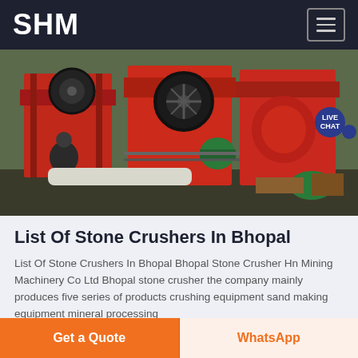SHM
[Figure (photo): Industrial stone crushing machinery with red-painted heavy equipment and a worker in background, set outdoors.]
List Of Stone Crushers In Bhopal
List Of Stone Crushers In Bhopal Bhopal Stone Crusher Hn Mining Machinery Co Ltd Bhopal stone crusher the company mainly produces five series of products crushing equipment sand making equipment mineral processing
Get a Quote | WhatsApp